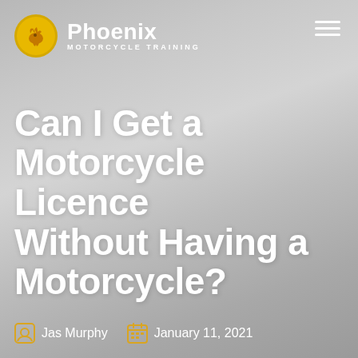Phoenix Motorcycle Training
Can I Get a Motorcycle Licence Without Having a Motorcycle?
Jas Murphy  January 11, 2021